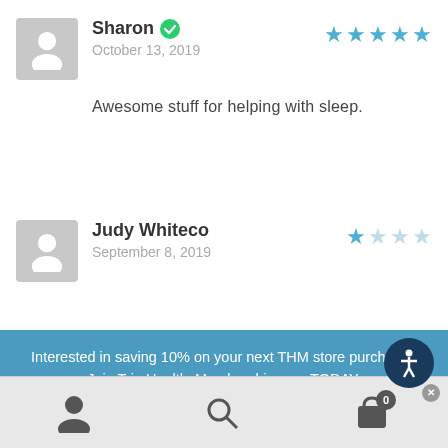[Figure (other): User review card for Sharon with 5-star rating, verified badge, date October 13, 2019, and review text 'Awesome stuff for helping with sleep.']
[Figure (other): User review card for Judy Whiteco with 1-star rating and date September 8, 2019]
[Figure (other): Blue promotional banner: 'Interested in saving 10% on your next THM store purchase? Join TrimHealthyMembership.com TODAY. Current members receive a 10% discount on eligible purchases. Already a member? Log In to enjoy your discount now.']
[Figure (other): Bottom navigation bar with user icon, search icon, and cart icon with badge showing 0]